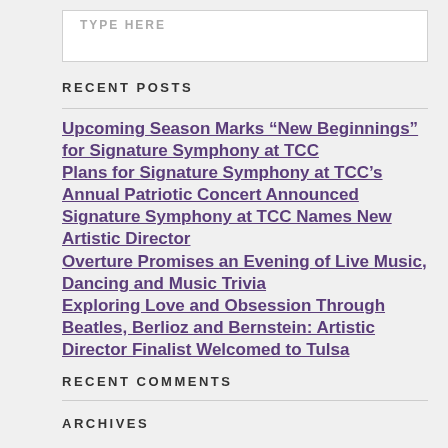TYPE HERE
RECENT POSTS
Upcoming Season Marks “New Beginnings” for Signature Symphony at TCC
Plans for Signature Symphony at TCC’s Annual Patriotic Concert Announced
Signature Symphony at TCC Names New Artistic Director
Overture Promises an Evening of Live Music, Dancing and Music Trivia
Exploring Love and Obsession Through Beatles, Berlioz and Bernstein: Artistic Director Finalist Welcomed to Tulsa
RECENT COMMENTS
ARCHIVES